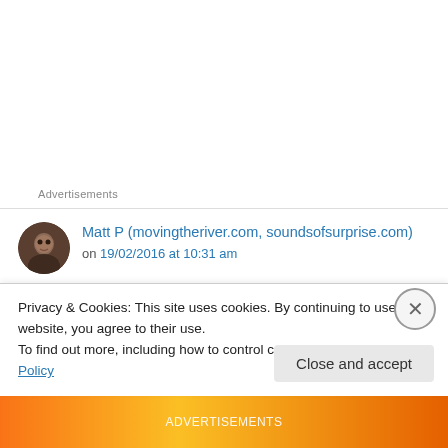Advertisements
[Figure (photo): Avatar/profile photo of commenter Matt P, circular dark-toned portrait]
Matt P (movingtheriver.com, soundsofsurprise.com) on 19/02/2016 at 10:31 am
Great stuff, I agree with you on Bill’s book, it’s a real treat though doesn’t pull any punches. Al Di Meola comes out even worse than Fripp (maybe not such a surprise there though…).
Privacy & Cookies: This site uses cookies. By continuing to use this website, you agree to their use.
To find out more, including how to control cookies, see here: Cookie Policy
Close and accept